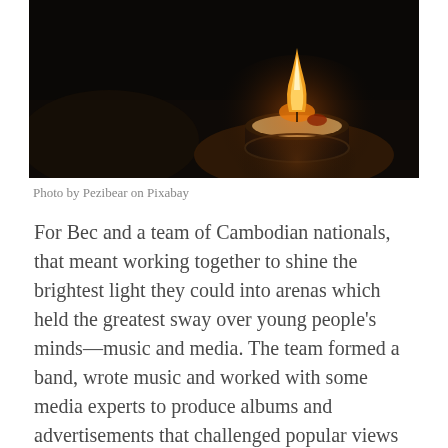[Figure (photo): A lit tealight candle on a dark background, photographed from above and to the side, showing a warm orange flame against near-black surroundings.]
Photo by Pezibear on Pixabay
For Bec and a team of Cambodian nationals, that meant working together to shine the brightest light they could into arenas which held the greatest sway over young people's minds—music and media. The team formed a band, wrote music and worked with some media experts to produce albums and advertisements that challenged popular views on issues such as drink spiking, date rape, prostitution and trafficking. As they shone their light, they were